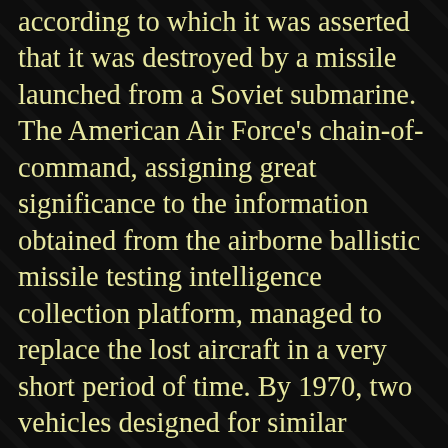according to which it was asserted that it was destroyed by a missile launched from a Soviet submarine. The American Air Force's chain-of-command, assigning great significance to the information obtained from the airborne ballistic missile testing intelligence collection platform, managed to replace the lost aircraft in a very short period of time. By 1970, two vehicles designed for similar purposes were put into service that were created on the base of the C-135B transport aircraft. In accordance with the program "Big Safari", in particular, work was done for improving its flight handling capabilities and a unique intelligence collection device was installed. These vehicles received the designation